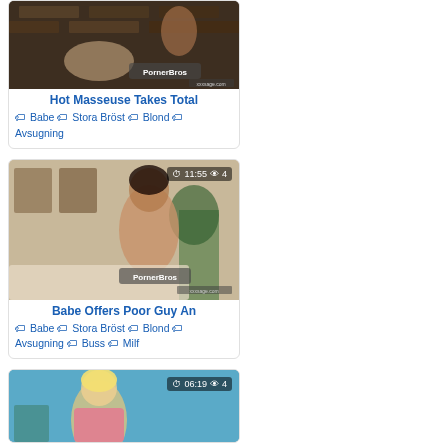[Figure (photo): Video thumbnail: Hot Masseuse Takes Total - with PornerBros watermark]
Hot Masseuse Takes Total
🏷 Babe 🏷 Stora Bröst 🏷 Blond 🏷 Avsugning
[Figure (photo): Video thumbnail: Babe Offers Poor Guy An - duration 11:55, views 4, PornerBros watermark]
Babe Offers Poor Guy An
🏷 Babe 🏷 Stora Bröst 🏷 Blond 🏷 Avsugning 🏷 Buss 🏷 Milf
[Figure (photo): Video thumbnail: blonde woman - duration 06:19, views 4]